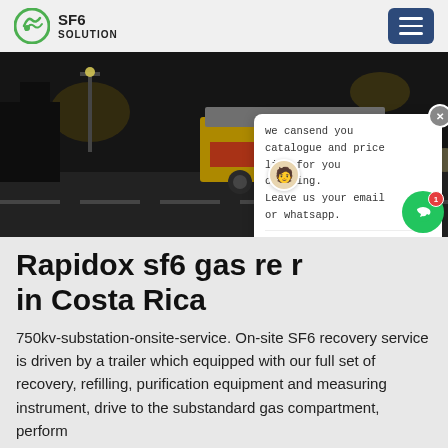SF6 SOLUTION
[Figure (photo): Night-time photo of a yellow truck/trailer on a road, used for SF6 on-site recovery service at a 750kv substation]
Rapidox sf6 gas recovery unit in Costa Rica
750kv-substation-onsite-service. On-site SF6 recovery service is driven by a trailer which equipped with our full set of recovery, refilling, purification equipment and measuring instrument, drive to the substandard gas compartment, perform